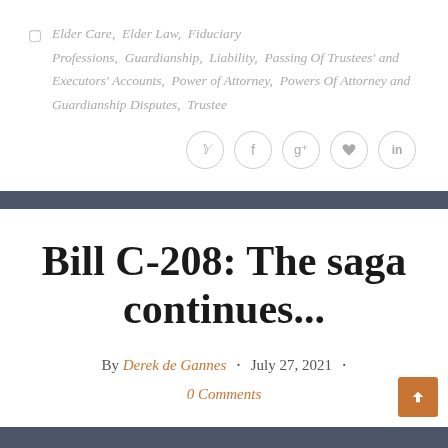Elder Care, Elder Law, Fiduciary Professions, Guardianship, Liability, Passing Of Trustees' and Executors' Accounts, Power of Attorney, Powers Of Attorney and Guardianship Disputes, Trustee
[Figure (other): Social sharing icons: Twitter, Facebook, Google+, Pinterest, LinkedIn — circular outlined buttons]
Bill C-208: The saga continues...
By Derek de Gannes · July 27, 2021 · 0 Comments